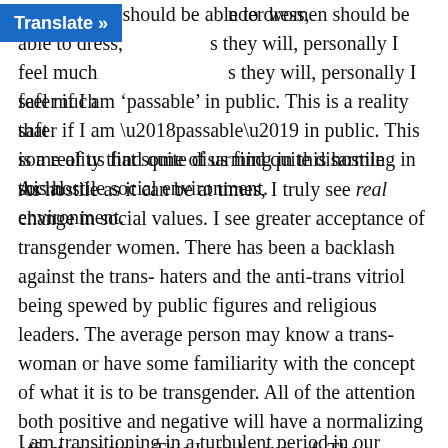nder women should be able to dress, as they will, personally I feel much safer if I am ‘passable’ in public. This is a reality that some of us find quite disarming in this hostile social environment.
As hostile as it can be at times, I truly see real change in social values. I see greater acceptance of transgender women. There has been a backlash against the trans-haters and the anti-trans vitriol being spewed by public figures and religious leaders. The average person may know a trans-woman or have some familiarity with the concept of what it is to be transgender. All of the attention both positive and negative will have a normalizing effect over time. This I can be sure of. The transgender movement is in much the same place as the lesbian/gay movement was 30 years ago. Over time, being lesbian or gay became socially acceptable and tolerated. Therein lies my hope for trans-people.
I am transitioning in a turbulent period in our shared